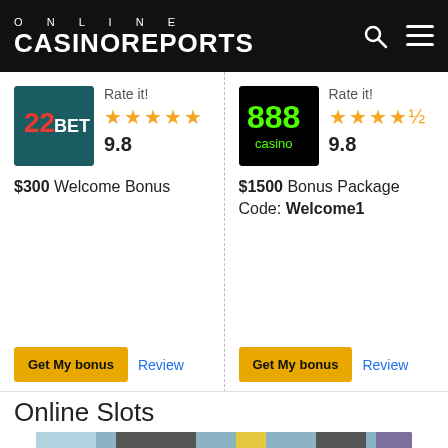ONLINE CASINOREPORTS
[Figure (screenshot): 22Bet casino logo on teal/dark green background with red and white '22BET' branding]
Rate it! 9.8
$300 Welcome Bonus
[Figure (screenshot): 888 Casino logo on black background with green '888 casino' branding]
Rate it! 9.8
$1500 Bonus Package Code: Welcome1
Online Slots
[Figure (photo): Close-up photo of slot machine reels with colorful symbols including BAR, coins, and balls]